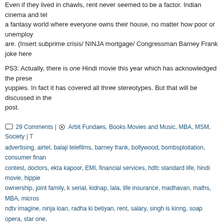Even if they lived in chawls, rent never seemed to be a factor. Indian cinema and television created a fantasy world where everyone owns their house, no matter how poor or unemployed they are. (Insert subprime crisis/ NINJA mortgage/ Congressman Barney Frank joke here).
PS3: Actually, there is one Hindi movie this year which has acknowledged the presence of yuppies. In fact it has covered all three stereotypes. But that will be discussed in the next post.
29 Comments | Arbit Fundaes, Books Movies and Music, MBA, MSM, Society | Tags: advertising, airtel, balaji telefilms, barney frank, bollywood, bombsploitation, consumer finance, contest, doctors, ekta kapoor, EMI, financial services, hdfc standard life, hindi movie, hippie, home ownership, joint family, k serial, kidnap, lala, life insurance, madhavan, maths, MBA, microsite, ndtv imagine, ninja loan, radha ki betiyan, rent, salary, singh is kinng, soap opera, star one, subprime crisis, Telecom, television, tv, ulcra, vidya balan, yaane tu ya jaane na, yuppie | Permalink
Posted by Aadisht
The Outlook for MBAs
September 16, 2008
My laziness and writer's block resulted in Gaurav beating me to it when it came to expressing schadenfreude about all the I-bankers who're losing their jobs. (I am of course a retail banker of repute and thus less affected.) This is just the beginning, though. What will MBAs do at placements time when their are no longer any investment banks to lap them up at Slot Zero?
My prediction is that ITC and UB will become the hot new Slot Zero recruiters. Now...